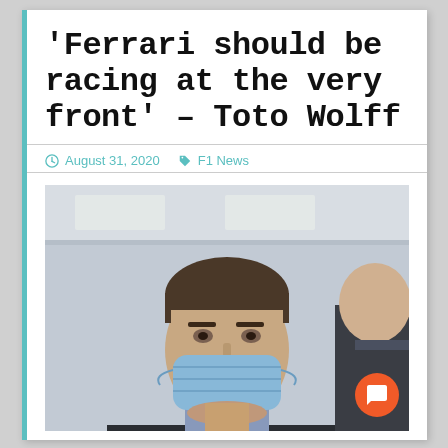'Ferrari should be racing at the very front' – Toto Wolff
August 31, 2020   F1 News
[Figure (photo): Man wearing a blue face mask and dark jacket, photographed indoors at what appears to be a motorsport paddock or facility. Another person is partially visible on the right.]